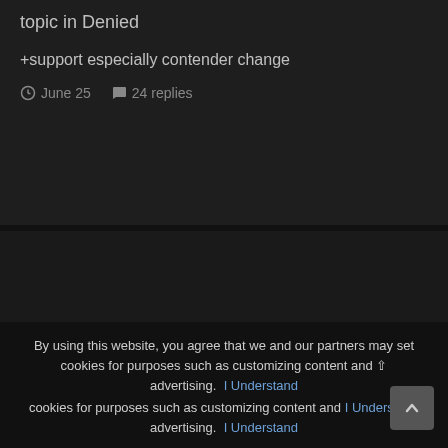topic in Denied
+support especially contender change
June 25   24 replies
THEME ▾   CONTACT US
THEME BY CODEBITE.DEV
COPYRIGHT © 2022 GAMINGLIGHT, LLC
POWERED BY INVISION COMMUNITY
By using this website, you agree that we and our partners may set cookies for purposes such as customizing content and advertising.   I Understand